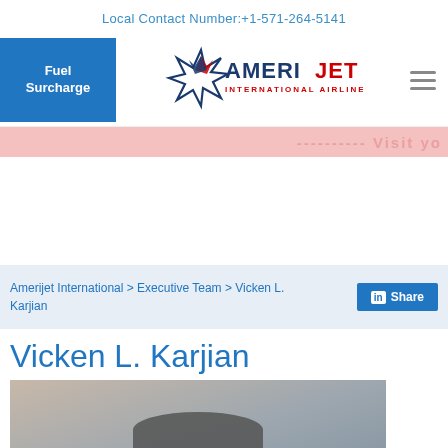Local Contact Number:+1-571-264-5141
[Figure (logo): Amerijet International Airlines logo with star and stylized text]
Fuel Surcharge
---------- Visit yo
Amerijet International > Executive Team > Vicken L. Karjian
Share
Vicken L. Karjian
[Figure (photo): Headshot photo of Vicken L. Karjian, partially visible, showing top of head]